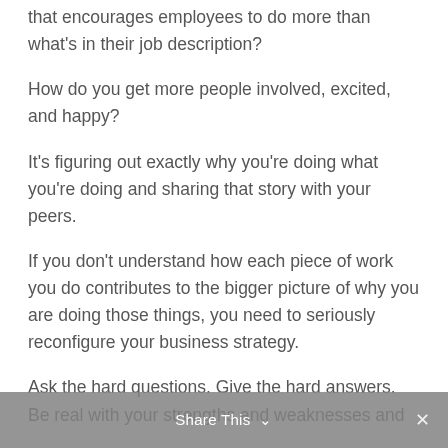that encourages employees to do more than what's in their job description?
How do you get more people involved, excited, and happy?
It's figuring out exactly why you're doing what you're doing and sharing that story with your peers.
If you don't understand how each piece of work you do contributes to the bigger picture of why you are doing those things, you need to seriously reconfigure your business strategy.
Ask the hard questions. Give the hard answers. Be real with your strengths and weaknesses and
Share This ∨  ✕